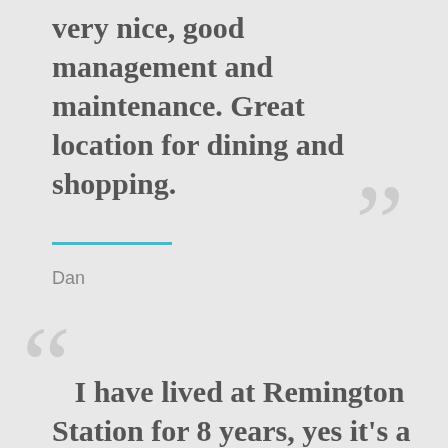very nice, good management and maintenance. Great location for dining and shopping.
Dan
I have lived at Remington Station for 8 years, yes it's a bit costly but it's a cost I'm willing to pay for a sense of peace and security. Everyone seems to respect each other which is not